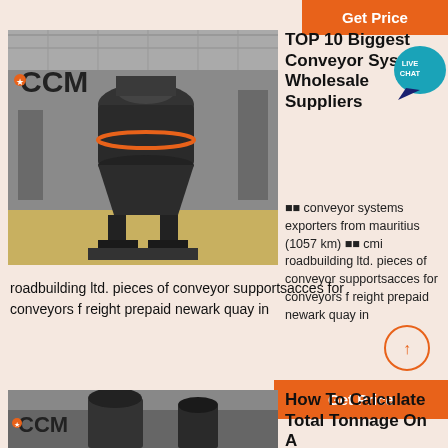[Figure (other): Orange Get Price button at top right]
[Figure (photo): Industrial machinery (cone crusher/mill) in factory setting with CCM logo overlay]
TOP 10 Biggest Conveyor Systems Wholesale Suppliers
conveyor systems exporters from mauritius (1057 km)  cmi roadbuilding ltd. pieces of conveyor supportsacces for conveyors f reight prepaid newark quay in
[Figure (other): Orange Get Price button at bottom right]
[Figure (photo): Industrial machinery in factory setting with CCM logo overlay, second article image]
How To Calculate Total Tonnage On A